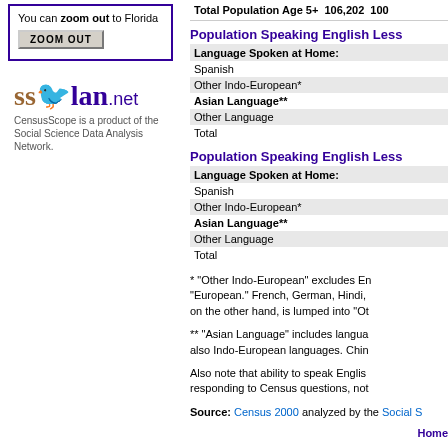You can zoom out to Florida
ZOOM OUT
[Figure (logo): SSDAN.net logo - Social Science Data Analysis Network]
CensusScope is a product of the Social Science Data Analysis Network.
Total Population Age 5+  106,202  100
Population Speaking English Less
| Language Spoken at Home: |
| --- |
| Spanish |
| Other Indo-European* |
| Asian Language** |
| Other Language |
| Total |
Population Speaking English Less
| Language Spoken at Home: |
| --- |
| Spanish |
| Other Indo-European* |
| Asian Language** |
| Other Language |
| Total |
* "Other Indo-European" excludes English and other "European." French, German, Hindi, on the other hand, is lumped into "Ot
** "Asian Language" includes languages that are also Indo-European languages. Chin
Also note that ability to speak English is self-reported by responding to Census questions, not
Source: Census 2000 analyzed by the Social S
Home